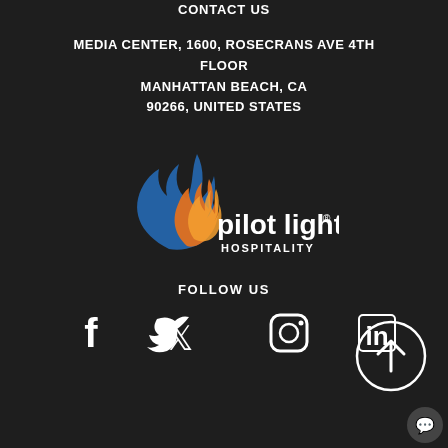CONTACT US
MEDIA CENTER, 1600, ROSECRANS AVE 4TH FLOOR
MANHATTAN BEACH, CA
90266, UNITED STATES
[Figure (logo): Pilot Light Hospitality logo with flame icon in orange and blue, white text reading 'pilot light' with registered trademark symbol, and 'HOSPITALITY' below]
FOLLOW US
[Figure (infographic): Social media icons: Facebook, Twitter, Instagram, LinkedIn]